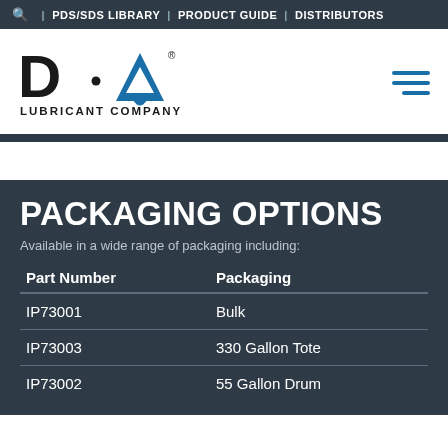🔍 | PDS/SDS LIBRARY | PRODUCT GUIDE | DISTRIBUTORS
[Figure (logo): D-A Lubricant Company logo with a blue water-drop shaped letter A]
PACKAGING OPTIONS
Available in a wide range of packaging including:
| Part Number | Packaging |
| --- | --- |
| IP73001 | Bulk |
| IP73003 | 330 Gallon Tote |
| IP73002 | 55 Gallon Drum |